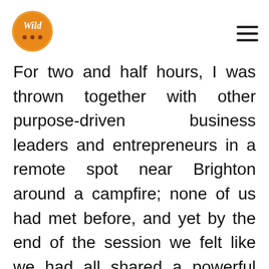Wild logo and navigation menu
For two and half hours, I was thrown together with other purpose-driven business leaders and entrepreneurs in a remote spot near Brighton around a campfire; none of us had met before, and yet by the end of the session we felt like we had all shared a powerful experience.
We worked through a series of thought provoking and challenging activities which required us to connect with our natural surroundings, and to disconnect with the outside world during the whole